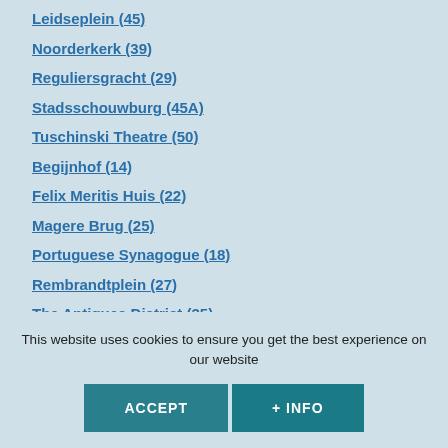Leidseplein (45)
Noorderkerk (39)
Reguliersgracht (29)
Stadsschouwburg (45A)
Tuschinski Theatre (50)
Begijnhof (14)
Felix Meritis Huis (22)
Magere Brug (25)
Portuguese Synagogue (18)
Rembrandtplein (27)
The Antiques District (35)
Vondelpark (33)
This website uses cookies to ensure you get the best experience on our website
ACCEPT
+ INFO